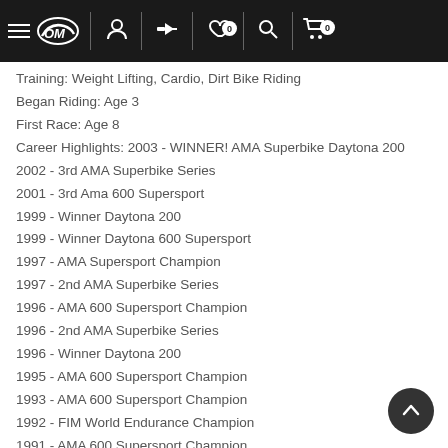Navigation bar with logo, user, compare, wishlist (0), search, cart (0)
Training: Weight Lifting, Cardio, Dirt Bike Riding
Began Riding: Age 3
First Race: Age 8
Career Highlights: 2003 - WINNER! AMA Superbike Daytona 200
2002 - 3rd AMA Superbike Series
2001 - 3rd Ama 600 Supersport
1999 - Winner Daytona 200
1999 - Winner Daytona 600 Supersport
1997 - AMA Supersport Champion
1997 - 2nd AMA Superbike Series
1996 - AMA 600 Supersport Champion
1996 - 2nd AMA Superbike Series
1996 - Winner Daytona 200
1995 - AMA 600 Supersport Champion
1993 - AMA 600 Supersport Champion
1992 - FIM World Endurance Champion
1991 - AMA 600 Supersport Champion
1991 - Winner Daytona 200
1990 - AMA Superbike Rookie of the Year